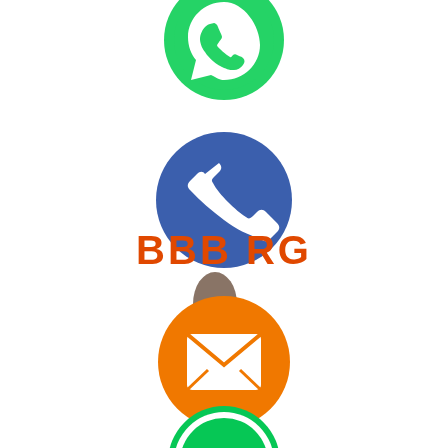[Figure (screenshot): Screenshot of a contact/support page from BBBORG website showing stacked social media and communication app icons (WhatsApp green, Phone blue, Email orange, LINE green, Viber purple) overlapping each other in a vertical column, with a brand logo text 'BBBORG' in orange, phone number '+8801...08913', '24/7 Customer Support' text, 'WhatsApp ...9363873' text, a dark red 'Buy Email database' button, a green X close button, and a dark maroon footer bar with hamburger menu lines.]